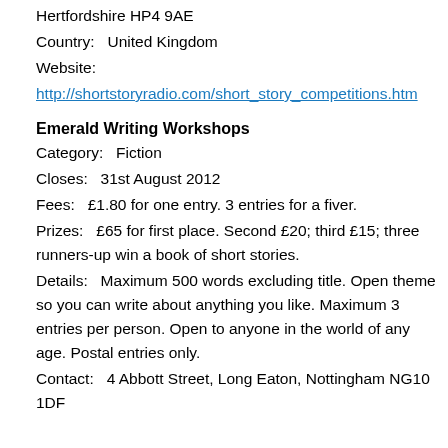Hertfordshire HP4 9AE
Country:   United Kingdom
Website:
http://shortstoryradio.com/short_story_competitions.htm
Emerald Writing Workshops
Category:   Fiction
Closes:   31st August 2012
Fees:   £1.80 for one entry. 3 entries for a fiver.
Prizes:   £65 for first place. Second £20; third £15; three runners-up win a book of short stories.
Details:   Maximum 500 words excluding title. Open theme so you can write about anything you like. Maximum 3 entries per person. Open to anyone in the world of any age. Postal entries only.
Contact:   4 Abbott Street, Long Eaton, Nottingham NG10 1DF